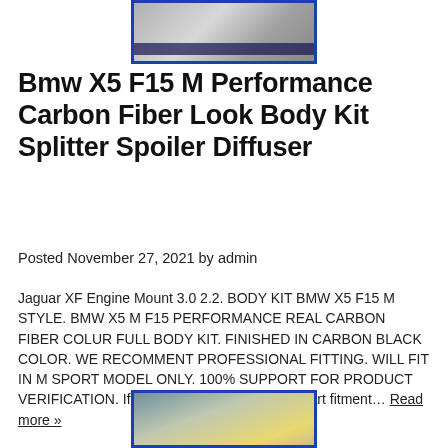[Figure (photo): Top image of a BMW body kit part with blue border]
Bmw X5 F15 M Performance Carbon Fiber Look Body Kit Splitter Spoiler Diffuser
Posted November 27, 2021 by admin
Jaguar XF Engine Mount 3.0 2.2. BODY KIT BMW X5 F15 M STYLE. BMW X5 M F15 PERFORMANCE REAL CARBON FIBER COLUR FULL BODY KIT. FINISHED IN CARBON BLACK COLOR. WE RECOMMENT PROFESSIONAL FITTING. WILL FIT IN M SPORT MODEL ONLY. 100% SUPPORT FOR PRODUCT VERIFICATION. If you are not sure about the part fitment… Read more »
[Figure (photo): Bottom image of a car with yellow detail, blue border]